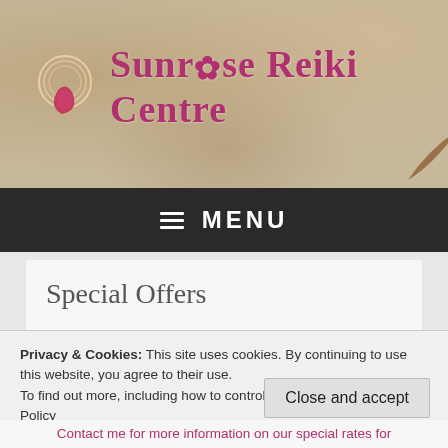[Figure (logo): Sunrise Reiki Centre logo with circular swirl icon and leaf/flower shape in pink, on textured beige/tan background with decorative brown leaf in top right]
≡ MENU
Special Offers
~ Standard Reiki Treatment ~
Privacy & Cookies: This site uses cookies. By continuing to use this website, you agree to their use.
To find out more, including how to control cookies, see here: Cookie Policy
Close and accept
Contact me for more information on our special rates for